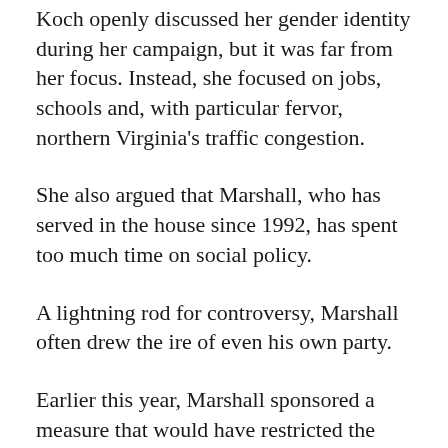Koch openly discussed her gender identity during her campaign, but it was far from her focus. Instead, she focused on jobs, schools and, with particular fervor, northern Virginia's traffic congestion.
She also argued that Marshall, who has served in the house since 1992, has spent too much time on social policy.
A lightning rod for controversy, Marshall often drew the ire of even his own party.
Earlier this year, Marshall sponsored a measure that would have restricted the bathrooms transgender people can use. He is also the author of a now-void constitutional amendment that defined marriage as between one man and one woman, and sponsored a bill banning gay people from openly serving in the